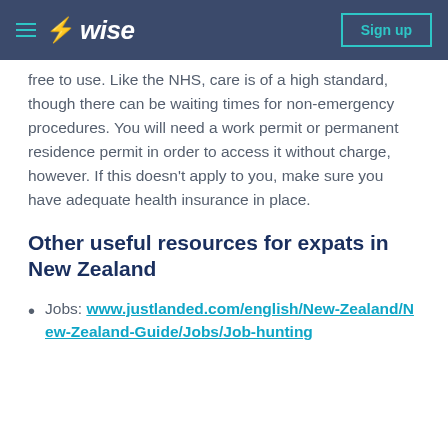Wise — Sign up
free to use. Like the NHS, care is of a high standard, though there can be waiting times for non-emergency procedures. You will need a work permit or permanent residence permit in order to access it without charge, however. If this doesn't apply to you, make sure you have adequate health insurance in place.
Other useful resources for expats in New Zealand
Jobs: www.justlanded.com/english/New-Zealand/New-Zealand-Guide/Jobs/Job-hunting